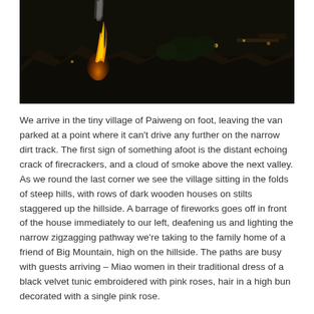[Figure (photo): Night-time aerial view of the village of Paiweng, showing dark wooden houses on stilts on a hillside with a fire/fireworks burning and smoke rising into the dark sky.]
We arrive in the tiny village of Paiweng on foot, leaving the van parked at a point where it can't drive any further on the narrow dirt track. The first sign of something afoot is the distant echoing crack of firecrackers, and a cloud of smoke above the next valley.
As we round the last corner we see the village sitting in the folds of steep hills, with rows of dark wooden houses on stilts staggered up the hillside. A barrage of fireworks goes off in front of the house immediately to our left, deafening us and lighting the narrow zigzagging pathway we're taking to the family home of a friend of Big Mountain, high on the hillside. The paths are busy with guests arriving – Miao women in their traditional dress of a black velvet tunic embroidered with pink roses, hair in a high bun decorated with a single pink rose.